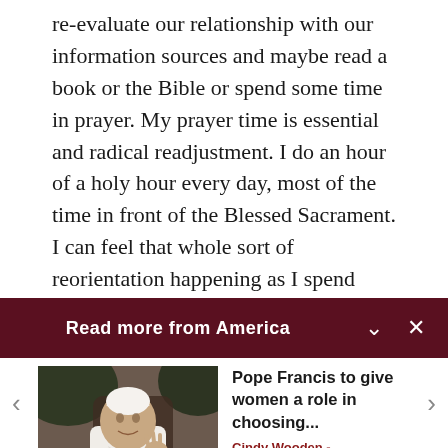re-evaluate our relationship with our information sources and maybe read a book or the Bible or spend some time in prayer. My prayer time is essential and radical readjustment. I do an hour of a holy hour every day, most of the time in front of the Blessed Sacrament. I can feel that whole sort of reorientation happening as I spend time with Jesus, and not my phone.
Read more from America
[Figure (photo): Photo of Pope Francis in white papal robes, gesturing with hand]
Pope Francis to give women a role in choosing...
Cindy Wooden - Catholic News Service